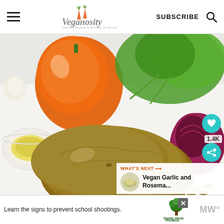Veganosity — SUBSCRIBE
[Figure (photo): Flat-lay photo of vegetables and ingredients on a white surface: orange bell pepper, fresh cilantro, red onion, a large russet potato in the foreground, a bowl of yellow spice (nutritional yeast), and pumpkin seeds scattered at the bottom.]
WHAT'S NEXT → Vegan Garlic and Rosema...
Learn the signs to prevent school shootings.